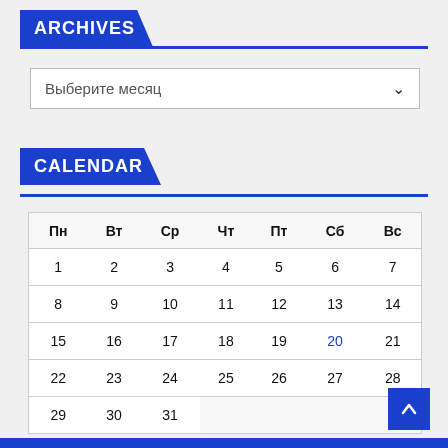ARCHIVES
Выберите месяц
CALENDAR
| Пн | Вт | Ср | Чт | Пт | Сб | Вс |
| --- | --- | --- | --- | --- | --- | --- |
| 1 | 2 | 3 | 4 | 5 | 6 | 7 |
| 8 | 9 | 10 | 11 | 12 | 13 | 14 |
| 15 | 16 | 17 | 18 | 19 | 20 | 21 |
| 22 | 23 | 24 | 25 | 26 | 27 | 28 |
| 29 | 30 | 31 |  |  |  |  |